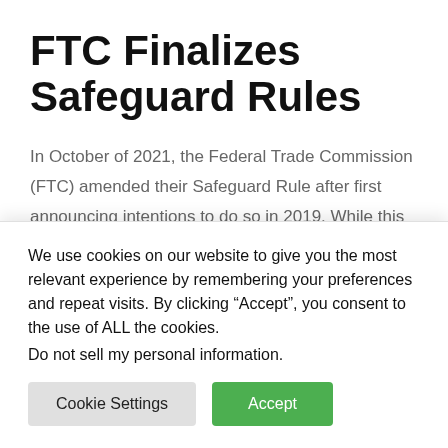FTC Finalizes Safeguard Rules
In October of 2021, the Federal Trade Commission (FTC) amended their Safeguard Rule after first announcing intentions to do so in 2019. While this provided relevant companies with some warning, many are overwhelmed with the new set of regulations outlined.
Despite this, it is crucial to remember that these
We use cookies on our website to give you the most relevant experience by remembering your preferences and repeat visits. By clicking “Accept”, you consent to the use of ALL the cookies.
Do not sell my personal information.